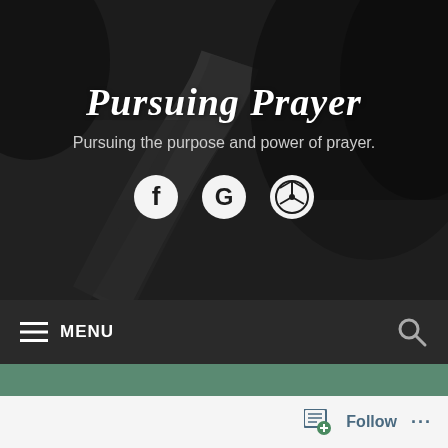Pursuing Prayer
Pursuing the purpose and power of prayer.
[Figure (illustration): Three social media icons: Facebook (f), Google (G), WordPress (WP) in white circles on dark background]
≡ MENU
TAG: FIERY SERPENTS
Follow ...